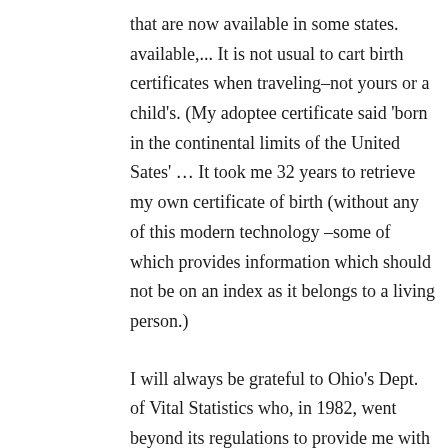that are now available in some states. available,... It is not usual to cart birth certificates when traveling–not yours or a child's. (My adoptee certificate said 'born in the continental limits of the United Sates' … It took me 32 years to retrieve my own certificate of birth (without any of this modern technology –some of which provides information which should not be on an index as it belongs to a living person.)
I will always be grateful to Ohio's Dept. of Vital Statistics who, in 1982, went beyond its regulations to provide me with my true birth